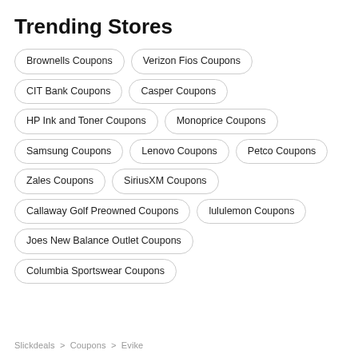Trending Stores
Brownells Coupons
Verizon Fios Coupons
CIT Bank Coupons
Casper Coupons
HP Ink and Toner Coupons
Monoprice Coupons
Samsung Coupons
Lenovo Coupons
Petco Coupons
Zales Coupons
SiriusXM Coupons
Callaway Golf Preowned Coupons
lululemon Coupons
Joes New Balance Outlet Coupons
Columbia Sportswear Coupons
Slickdeals  >  Coupons  >  Evike